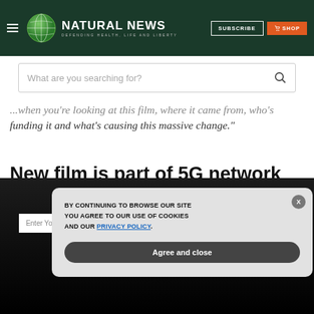Natural News — Defending Health, Life and Liberty
What are you searching for?
...when you're looking at this film, where it came from, who's funding it and what's causing this massive change."
New film is part of 5G network test
Kesterson thinks the film is a real indicator that something
GET THE WORLD'S BEST NATURAL HEALTH NEWSLETTER DELIVERED STRAIGHT TO YOUR INBOX
BY CONTINUING TO BROWSE OUR SITE YOU AGREE TO OUR USE OF COOKIES AND OUR PRIVACY POLICY.
Agree and close